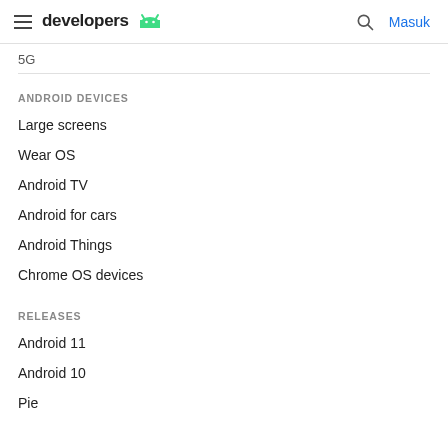developers | Masuk
5G
ANDROID DEVICES
Large screens
Wear OS
Android TV
Android for cars
Android Things
Chrome OS devices
RELEASES
Android 11
Android 10
Pie